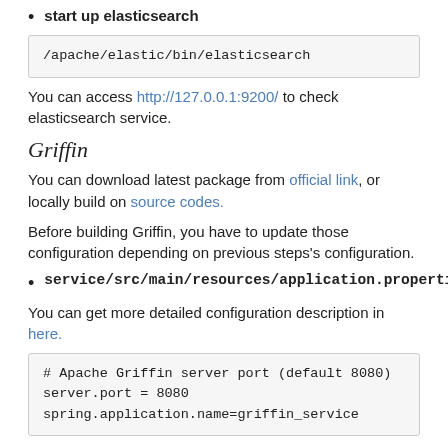start up elasticsearch
/apache/elastic/bin/elasticsearch
You can access http://127.0.0.1:9200/ to check elasticsearch service.
Griffin
You can download latest package from official link, or locally build on source codes.
Before building Griffin, you have to update those configuration depending on previous steps's configuration.
service/src/main/resources/application.properties
You can get more detailed configuration description in here.
# Apache Griffin server port (default 8080)
server.port = 8080
spring.application.name=griffin_service